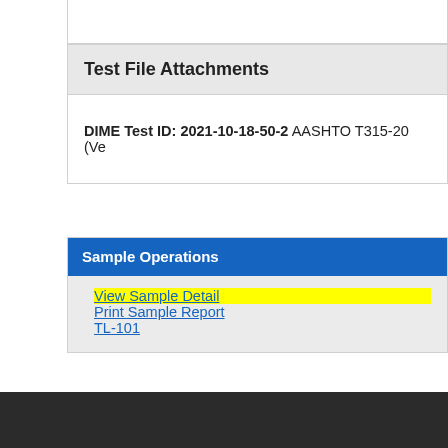Test File Attachments
DIME Test ID: 2021-10-18-50-2 AASHTO T315-20 (Ve
Sample Operations
View Sample Detail
Print Sample Report
TL-101